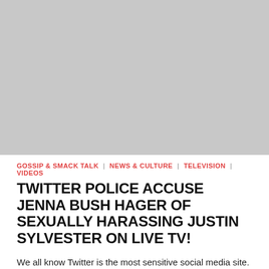[Figure (photo): Gray placeholder image box representing a photo]
GOSSIP & SMACK TALK | NEWS & CULTURE | TELEVISION | VIDEOS
TWITTER POLICE ACCUSE JENNA BUSH HAGER OF SEXUALLY HARASSING JUSTIN SYLVESTER ON LIVE TV!
We all know Twitter is the most sensitive social media site. The users on there will find something wrong with...